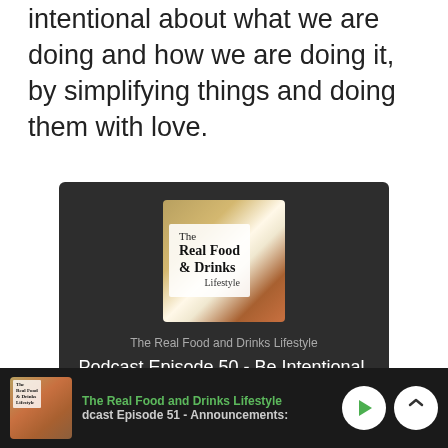intentional about what we are doing and how we are doing it, by simplifying things and doing them with love.
[Figure (screenshot): Podcast player card for 'The Real Food and Drinks Lifestyle' showing Episode 50 - Be Intentional, Simplify, and Love with podcast logo and play button on dark background]
The Real Food and Drinks Lifestyle · Podcast Episode 51 - Announcements: